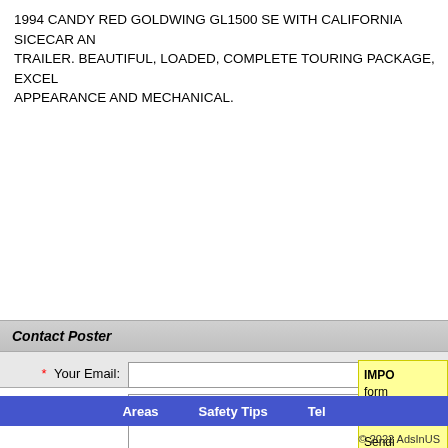1994 CANDY RED GOLDWING GL1500 SE WITH CALIFORNIA SICECAR AN TRAILER. BEAUTIFUL, LOADED, COMPLETE TOURING PACKAGE, EXCEL APPEARANCE AND MECHANICAL.
Contact Poster
* Your Email: [input field]
* Message: [textarea]
* = Required information.
IMPO form regar Sendi servic
Areas   Safety Tips   Tel
© 2022 AdsInUS